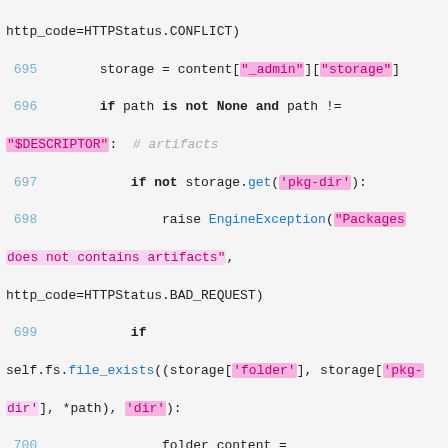Code snippet showing Python source lines 695-707 with syntax highlighting. Lines show storage retrieval, path checks, file operations using self.fs methods.